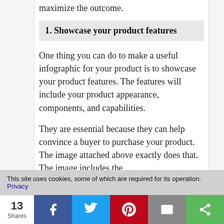maximize the outcome.
1. Showcase your product features
One thing you can do to make a useful infographic for your product is to showcase your product features. The features will include your product appearance, components, and capabilities.
They are essential because they can help convince a buyer to purchase your product. The image attached above exactly does that. The image includes the
This site uses cookies, some of which are required for its operation. Privacy
13 Shares